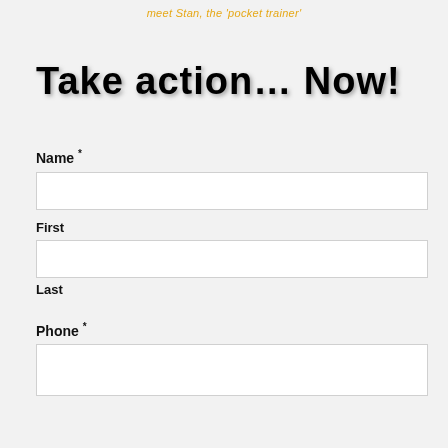meet Stan, the 'pocket trainer'
Take action... Now!
Name *
First
Last
Phone *